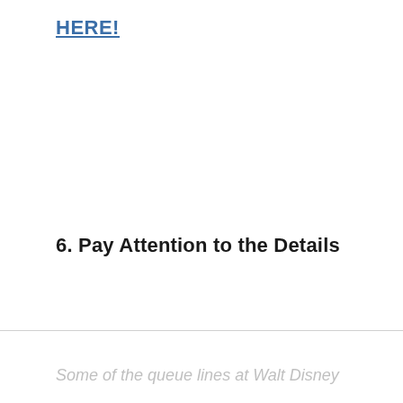HERE!
6. Pay Attention to the Details
Some of the queue lines at Walt Disney